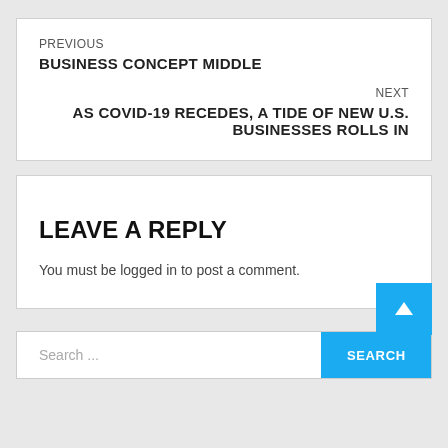PREVIOUS
BUSINESS CONCEPT MIDDLE
NEXT
AS COVID-19 RECEDES, A TIDE OF NEW U.S. BUSINESSES ROLLS IN
LEAVE A REPLY
You must be logged in to post a comment.
Search ...